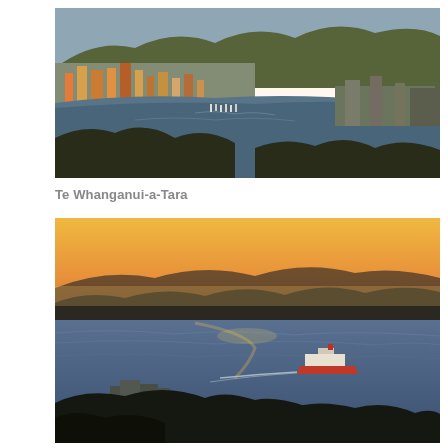[Figure (photo): Aerial panoramic view of Wellington (Te Whanganui-a-Tara), New Zealand, showing the city skyline, harbour, marina with boats, surrounding green hills, and port facilities under warm sunlight.]
Te Whanganui-a-Tara
[Figure (photo): Sunset view over Wellington harbour with golden orange sky, silhouetted hills in the background, a large ferry crossing the calm water leaving a wake, and coastal buildings visible in the foreground below.]